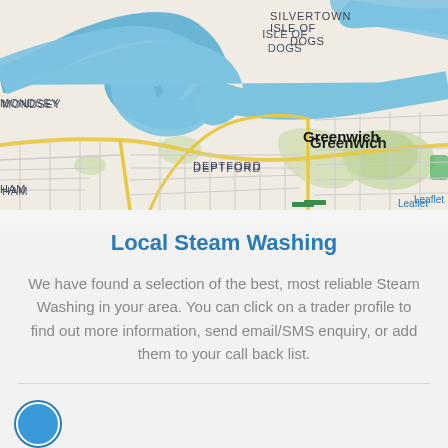[Figure (map): Street map of East London showing areas including Isle of Dogs, Silvertown, Greenwich, Woolwich, Deptford, Charlton, Bermondsey, with the River Thames visible winding through the image. Map attribution 'Leaflet' shown in bottom right.]
Local Steam Washing
We have found a selection of the best, most reliable Steam Washing in your area. You can click on a trader profile to find out more information, send email/SMS enquiry, or add them to your call back list.